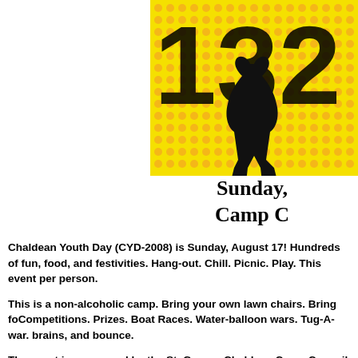[Figure (illustration): Colorful graphic with large bold text '132' partially visible, yellow and orange halftone dotted pattern background with black silhouette of a person jumping or playing, partially cropped at right edge]
Sunday,
Camp C
Chaldean Youth Day (CYD-2008) is Sunday, August 17!  Hundreds of fun, food, and festivities.  Hang-out. Chill. Picnic. Play. This event per person.
This is a non-alcoholic camp.  Bring your own lawn chairs.  Bring fo Competitions. Prizes. Boat Races.  Water-balloon wars.  Tug-A-war. brains, and bounce.
The event is sponsored by the St. George Chaldean Camp Council i limited to, the Chaldean Church Sports League, Chaldean Teens Co Jesus Christ University, Chaldean American Professionals, Chaldea League, Chaldean American Student Association, and Chaldean Ch
You have been told!  Someone post this on MySpace, Facebook, and